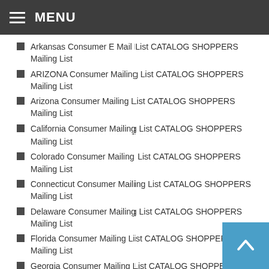MENU
Arkansas Consumer E Mail List CATALOG SHOPPERS Mailing List
ARIZONA Consumer Mailing List CATALOG SHOPPERS Mailing List
Arizona Consumer Mailing List CATALOG SHOPPERS Mailing List
California Consumer Mailing List CATALOG SHOPPERS Mailing List
Colorado Consumer Mailing List CATALOG SHOPPERS Mailing List
Connecticut Consumer Mailing List CATALOG SHOPPERS Mailing List
Delaware Consumer Mailing List CATALOG SHOPPERS Mailing List
Florida Consumer Mailing List CATALOG SHOPPERS Mailing List
Georgia Consumer Mailing List CATALOG SHOPPERS Mailing